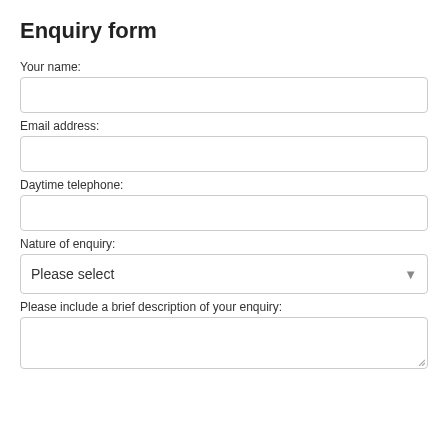Enquiry form
Your name:
Email address:
Daytime telephone:
Nature of enquiry:
Please select
Please include a brief description of your enquiry: